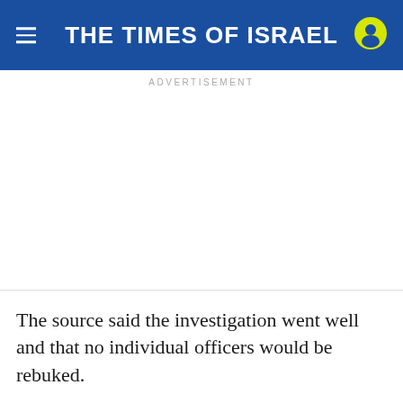THE TIMES OF ISRAEL
ADVERTISEMENT
The source said the investigation went well and that no individual officers would be rebuked.
The police statement was issued at 9:30 p.m., apparently indicating law enforcement officials'